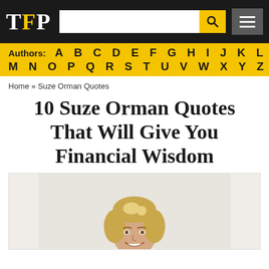TFP [search bar] [menu button]
Authors: A B C D E F G H I J K L M N O P Q R S T U V W X Y Z
Home » Suze Orman Quotes
10 Suze Orman Quotes That Will Give You Financial Wisdom
[Figure (photo): Photo of Suze Orman, a woman with short blonde hair, smiling, wearing a white jacket]